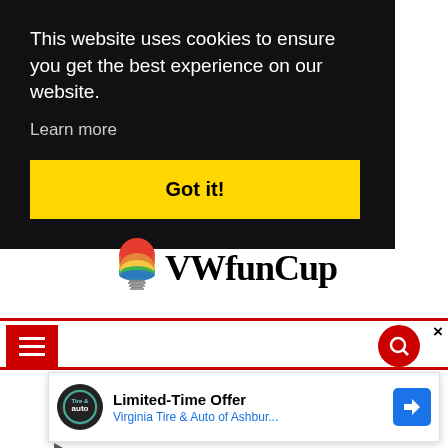This website uses cookies to ensure you get the best experience on our website.
Learn more
Got it!
[Figure (logo): VWfunCup logo with colorful lightbulb icon and blackletter text]
[Figure (screenshot): Website navigation bar with red hamburger menu icon on left and red circular search icon on right, with close X button]
[Figure (screenshot): Advertisement banner: Limited-Time Offer Virginia Tire & Auto of Ashbur... with Tire and Auto circular logo and blue navigation arrow icon]